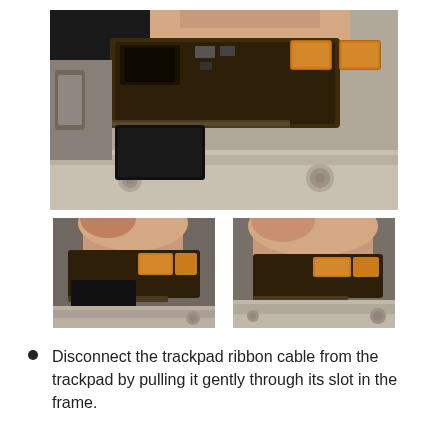[Figure (photo): Close-up photo of a person's finger lifting a MacBook trackpad circuit board showing copper heat pads and PCB components inside the laptop chassis.]
[Figure (photo): Two side-by-side smaller photos showing hands pulling a trackpad ribbon cable through its slot in the MacBook frame.]
Disconnect the trackpad ribbon cable from the trackpad by pulling it gently through its slot in the frame.